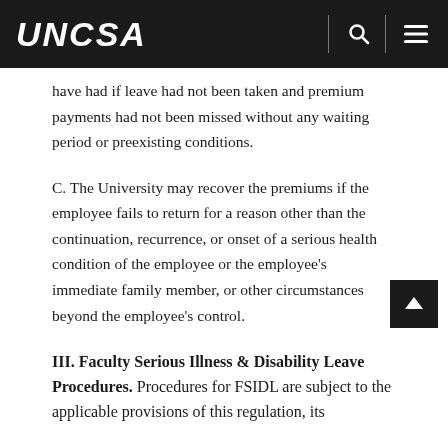UNCSA
have had if leave had not been taken and premium payments had not been missed without any waiting period or preexisting conditions.
C. The University may recover the premiums if the employee fails to return for a reason other than the continuation, recurrence, or onset of a serious health condition of the employee or the employee's immediate family member, or other circumstances beyond the employee's control.
III. Faculty Serious Illness & Disability Leave Procedures. Procedures for FSIDL are subject to the applicable provisions of this regulation, its